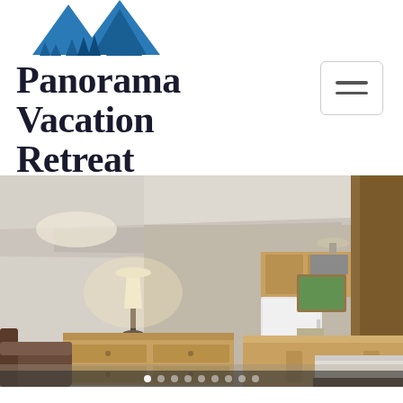[Figure (logo): Panorama Vacation Retreat at Horsethief Lodge logo — blue mountain peaks with pine trees above the text]
Panorama Vacation Retreat at HORSETHIEF LODGE
[Figure (photo): Interior photo of a lodge room showing a leather sofa, wooden dresser with lamp, kitchenette with white refrigerator and light wood cabinetry, a dining table with chairs, a bed, and a painting on the wall]